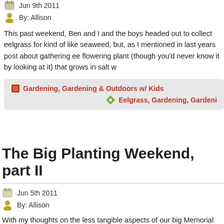Jun 9th 2011
By: Allison
This past weekend, Ben and I and the boys headed out to collect eelgrass for kind of like seaweed, but, as I mentioned in last years post about gathering ee flowering plant (though you'd never know it by looking at it) that grows in salt w
Gardening, Gardening & Outdoors w/ Kids
Eelgrass, Gardening, Gardeni
The Big Planting Weekend, part II
Jun 5th 2011
By: Allison
With my thoughts on the less tangible aspects of our big Memorial day planting didn't quite get to the practical parts of our days.  So, I'm back to fill you in a b I'm a bit late with this post–I'm still back on [...]
Gardening, Gardening & Outdoors w/ Kids
Gardening,